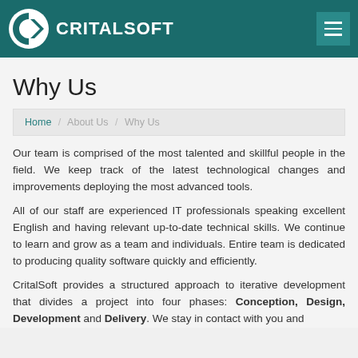CRITALSOFT
Why Us
Home / About Us / Why Us
Our team is comprised of the most talented and skillful people in the field. We keep track of the latest technological changes and improvements deploying the most advanced tools.
All of our staff are experienced IT professionals speaking excellent English and having relevant up-to-date technical skills. We continue to learn and grow as a team and individuals. Entire team is dedicated to producing quality software quickly and efficiently.
CritalSoft provides a structured approach to iterative development that divides a project into four phases: Conception, Design, Development and Delivery. We stay in contact with you and